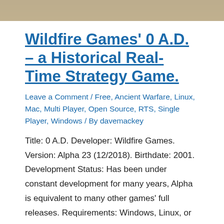[Figure (photo): Partial image strip at the top of the page showing a scene from the game 0 A.D.]
Wildfire Games' 0 A.D. – a Historical Real-Time Strategy Game.
Leave a Comment / Free, Ancient Warfare, Linux, Mac, Multi Player, Open Source, RTS, Single Player, Windows / By davemackey
Title: 0 A.D. Developer: Wildfire Games. Version: Alpha 23 (12/2018). Birthdate: 2001. Development Status: Has been under constant development for many years, Alpha is equivalent to many other games' full releases. Requirements: Windows, Linux, or Mac. Rating: 9/10. Site: http://play0ad.com/ Description: A free, open-source, cross-platform real-time strategy (RTS) game of ancient warfare covering from approximately 500 B.C. to 500 A.D.